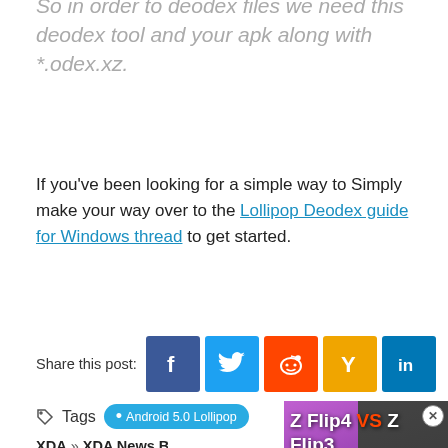So in order to deodex files we need this deodex tool and your apk along with *.odex.xz.
If you’ve been looking for a simple way to Simply make your way over to the Lollipop Deodex guide for Windows thread to get started.
Share this post: [Facebook] [Twitter] [Reddit] [Hacker News] [LinkedIn]
Tags  Android 5.0 Lollipop
XDA » XDA News Brief » Deod... with Ease
ABOUT AUTHOR
[Figure (screenshot): Video thumbnail overlay showing 'Z Flip4 VS Z Flip3' comparison with play button]
[Figure (photo): Author photo placeholder]
Save up to $100 on Brakes & Rotors at Virginia Tire & Auto Brake Special Near You
n-Chief